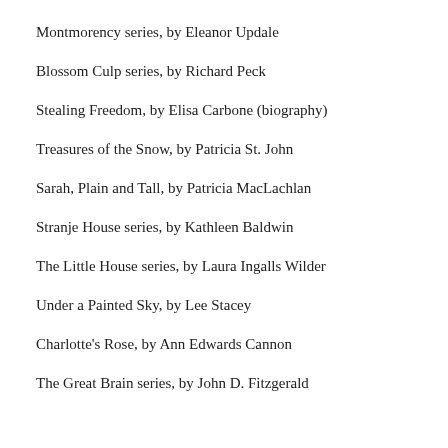Montmorency series, by Eleanor Updale
Blossom Culp series, by Richard Peck
Stealing Freedom, by Elisa Carbone (biography)
Treasures of the Snow, by Patricia St. John
Sarah, Plain and Tall, by Patricia MacLachlan
Stranje House series, by Kathleen Baldwin
The Little House series, by Laura Ingalls Wilder
Under a Painted Sky, by Lee Stacey
Charlotte's Rose, by Ann Edwards Cannon
The Great Brain series, by John D. Fitzgerald